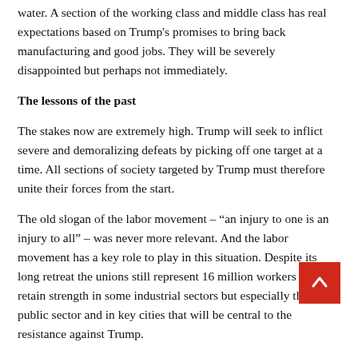water. A section of the working class and middle class has real expectations based on Trump's promises to bring back manufacturing and good jobs. They will be severely disappointed but perhaps not immediately.
The lessons of the past
The stakes now are extremely high. Trump will seek to inflict severe and demoralizing defeats by picking off one target at a time. All sections of society targeted by Trump must therefore unite their forces from the start.
The old slogan of the labor movement – “an injury to one is an injury to all” – was never more relevant. And the labor movement has a key role to play in this situation. Despite its long retreat the unions still represent 16 million workers and retain strength in some industrial sectors but especially the public sector and in key cities that will be central to the resistance against Trump.
The social power of working people uniting all parts of a mass